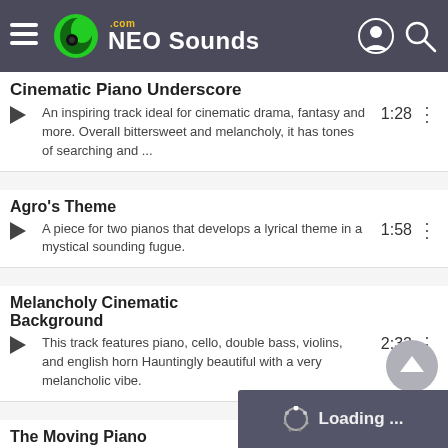NEO Sounds
Cinematic Piano Underscore
An inspiring track ideal for cinematic drama, fantasy and more. Overall bittersweet and melancholy, it has tones of searching and ...
1:28
Agro's Theme
A piece for two pianos that develops a lyrical theme in a mystical sounding fugue.
1:58
Melancholy Cinematic Background
This track features piano, cello, double bass, violins, and english horn Hauntingly beautiful with a very melancholic vibe.
2:32
The Moving Piano
An emotive and catchy piano melody leads the way with a light string accompaniment. Somewhat dark and
Loading ...